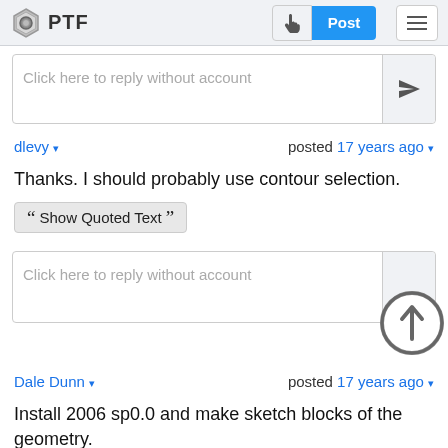PTF
Click here to reply without account
dlevy ▾   posted 17 years ago ▾
Thanks. I should probably use contour selection.
❝ Show Quoted Text ❞
Click here to reply without account
Dale Dunn ▾   posted 17 years ago ▾
Install 2006 sp0.0 and make sketch blocks of the geometry.